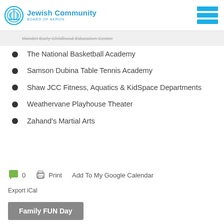Jewish Community Board of Akron
Mandel Early Childhood Education Center
The National Basketball Academy
Samson Dubina Table Tennis Academy
Shaw JCC Fitness, Aquatics & KidSpace Departments
Weathervane Playhouse Theater
Zahand's Martial Arts
0  Print  Add To My Google Calendar
Export iCal
Family FUN Day